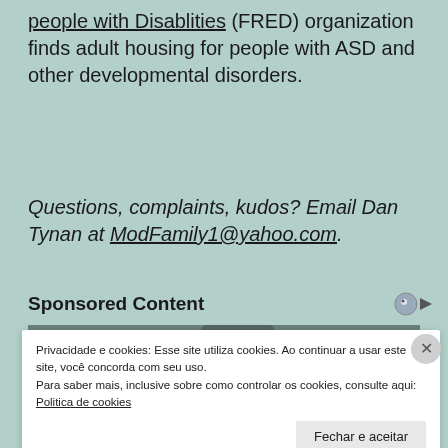people with Disablities (FRED) organization finds adult housing for people with ASD and other developmental disorders.
Questions, complaints, kudos? Email Dan Tynan at ModFamily1@yahoo.com.
Sponsored Content
[Figure (photo): Sponsored content ad image showing a person, partially visible behind cookie consent overlay]
Privacidade e cookies: Esse site utiliza cookies. Ao continuar a usar este site, você concorda com seu uso. Para saber mais, inclusive sobre como controlar os cookies, consulte aqui: Politica de cookies
Fechar e aceitar